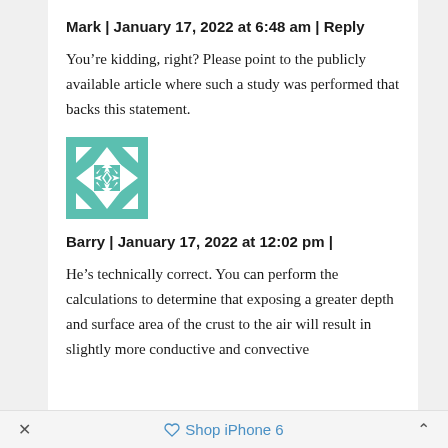Mark | January 17, 2022 at 6:48 am | Reply
You’re kidding, right? Please point to the publicly available article where such a study was performed that backs this statement.
[Figure (illustration): Teal and white geometric quilt-pattern avatar icon]
Barry | January 17, 2022 at 12:02 pm |
He’s technically correct. You can perform the calculations to determine that exposing a greater depth and surface area of the crust to the air will result in slightly more conductive and convective
×    Shop iPhone 6   ˄